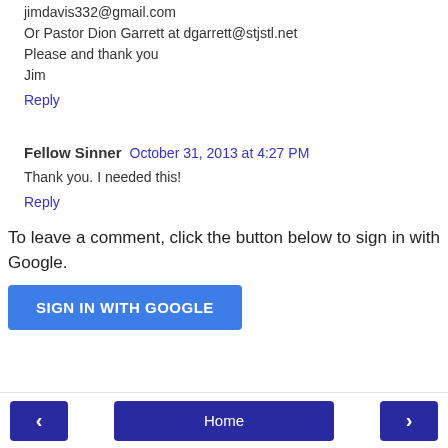jimdavis332@gmail.com
Or Pastor Dion Garrett at dgarrett@stjstl.net
Please and thank you
Jim
Reply
Fellow Sinner  October 31, 2013 at 4:27 PM
Thank you. I needed this!
Reply
To leave a comment, click the button below to sign in with Google.
SIGN IN WITH GOOGLE
< Home >